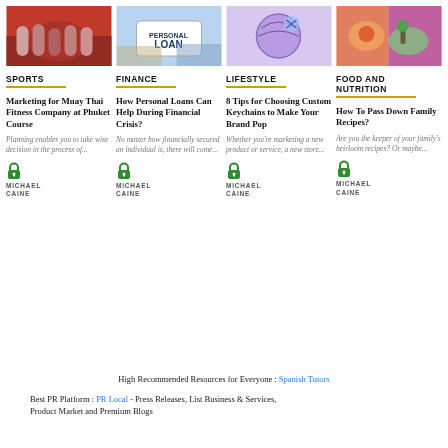[Figure (photo): Group of people in sports/fitness setting - Muay Thai]
[Figure (photo): Hands holding a card that says Personal Loan]
[Figure (photo): Illustration of person with globe and technology elements]
[Figure (photo): Colorful illustration of food items]
SPORTS
FINANCE
LIFESTYLE
FOOD AND NUTRITION
Marketing for Muay Thai Fitness Company at Phuket Course
Planning enables you to take wise decision in the process of...
MICHAEL CAINE
How Personal Loans Can Help During Financial Crisis?
No matter how financially secured an individual is, there will come...
MICHAEL CAINE
8 Tips for Choosing Custom Keychains to Make Your Brand Pop
Whether you're marketing a new product or service, a new store...
MICHAEL CAINE
How To Pass Down Family Recipes?
Are you the keeper of your family's heirloom recipes? Or maybe...
MICHAEL CAINE
High Recommended Resources for Everyone : Spanish Tutors
Best PR Platform : PR Local - Press Releases, List Business & Services, Product Market and Premium Blogs